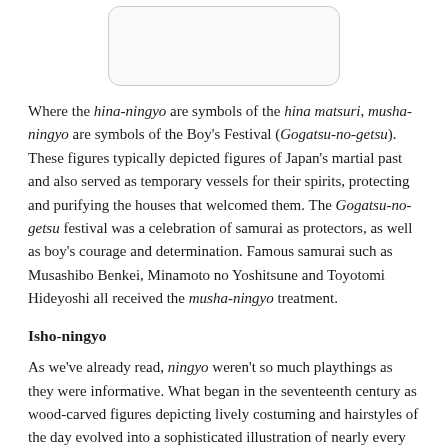[Figure (other): A rounded rectangle placeholder image at the top of the page]
Where the hina-ningyo are symbols of the hina matsuri, musha-ningyo are symbols of the Boy's Festival (Gogatsu-no-getsu). These figures typically depicted figures of Japan's martial past and also served as temporary vessels for their spirits, protecting and purifying the houses that welcomed them. The Gogatsu-no-getsu festival was a celebration of samurai as protectors, as well as boy's courage and determination. Famous samurai such as Musashibo Benkei, Minamoto no Yoshitsune and Toyotomi Hideyoshi all received the musha-ningyo treatment.
Isho-ningyo
As we've already read, ningyo weren't so much playthings as they were informative. What began in the seventeenth century as wood-carved figures depicting lively costuming and hairstyles of the day evolved into a sophisticated illustration of nearly every topic from kimono fashion to plays on the kabuki stage. These were the isho-ningyo. Clothing was the focus of the earlier Edo period isho-ningyo, and dolls were designed to be eye-catching and beautiful, but by the end of the seventeenth century they had evolved to depict characters from popular stories and